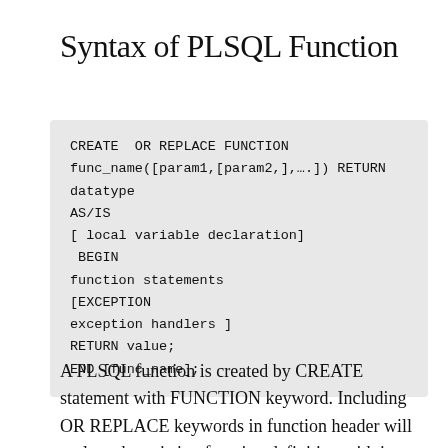Syntax of PLSQL Function
A PLSQL function is created by CREATE statement with FUNCTION keyword. Including OR REPLACE keywords in function header will replace the existing function definition with its new definition. In absence of OR REPLACE, if the